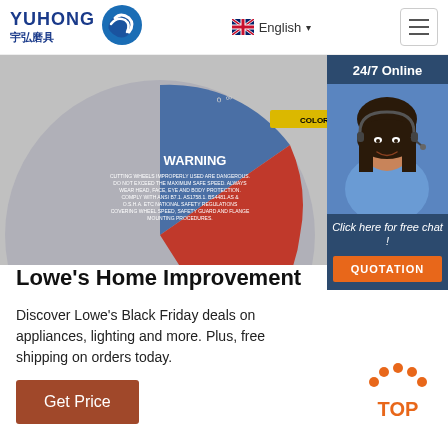YUHONG 宇弘磨具 | English
[Figure (photo): Close-up of an abrasive cutting wheel with WARNING label. Red and blue colored wheel showing safety warning text about cutting wheels.]
[Figure (photo): 24/7 Online customer service panel showing a smiling woman with headset. Includes 'Click here for free chat!' text and orange QUOTATION button.]
Lowe's Home Improvement
Discover Lowe's Black Friday deals on appliances, lighting and more. Plus, free shipping on orders today.
Get Price
[Figure (illustration): Orange dotted arc 'TOP' button for scrolling back to top of page]